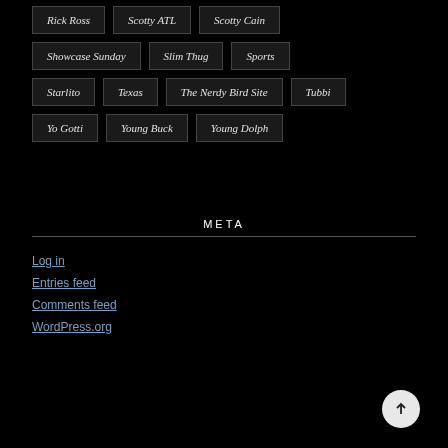Rick Ross
Scotty ATL
Scotty Cain
Showcase Sunday
Slim Thug
Sports
Starlito
Texas
The Nerdy Bird Site
Tubbi
Yo Gotti
Young Buck
Young Dolph
META
Log in
Entries feed
Comments feed
WordPress.org